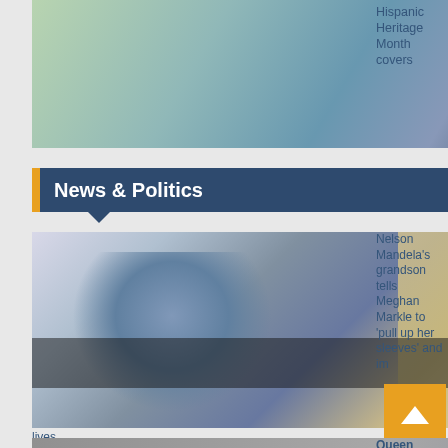[Figure (photo): Comic book style photo with DC logo badge visible in corner, possibly related to Hispanic Heritage Month covers]
Hispanic Heritage Month covers
News & Politics
[Figure (photo): Person wearing traditional African beaded necklace and fur garment holding an animal]
Nelson Mandela's grandson tells Meghan Markle to 'pull up her sleeves' and improve lives
[Figure (photo): Bottom partial image, Queen related article]
Queen